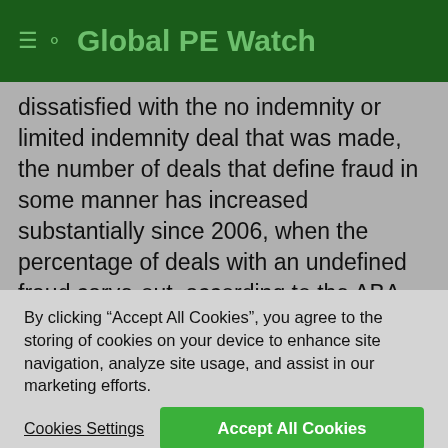Global PE Watch
dissatisfied with the no indemnity or limited indemnity deal that was made, the number of deals that define fraud in some manner has increased substantially since 2006, when the percentage of deals with an undefined fraud carve-out, according to the ABA Private Target Deal Point Study, was 92%. What the latest study does not reveal is how many of
By clicking “Accept All Cookies”, you agree to the storing of cookies on your device to enhance site navigation, analyze site usage, and assist in our marketing efforts.
Cookies Settings
Accept All Cookies